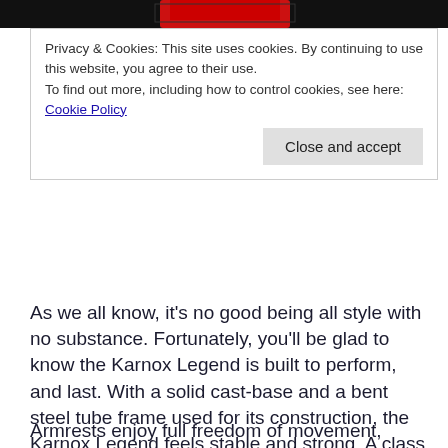[Figure (photo): Top strip showing a partial image of a gaming chair in red and black colors]
Privacy & Cookies: This site uses cookies. By continuing to use this website, you agree to their use.
To find out more, including how to control cookies, see here: Cookie Policy

[Close and accept button]
As we all know, it’s no good being all style with no substance. Fortunately, you’ll be glad to know the Karnox Legend is built to perform, and last. With a solid cast-base and a bent steel tube frame used for its construction, the Karnox Legend feels stable and strong. A class 4 heavy-duty gas lift controls your height adjustments, whilst it’s possible to recline the chair to 155 degrees for maximum comfort (or a sneaky snooze) during lengthy gaming sessions. (If you are having trouble visualising what a 155-degree recline looks like, let’s just say if you are at that angle, you won’t have any problem taking a nap.)
Armrests enjoy full freedom of movement, dubbed 4D